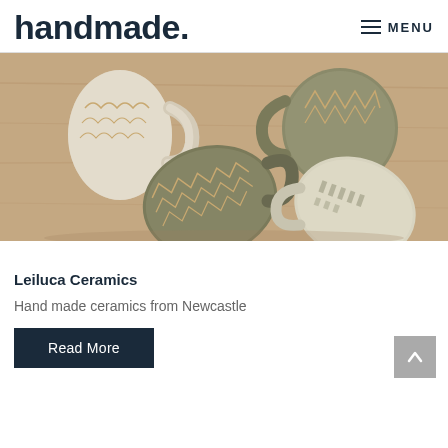handmade. MENU
[Figure (photo): Photograph of several handmade ceramic mugs with carved geometric patterns including chevrons, triangles, and grid textures, in cream and olive green tones, arranged on a wooden surface.]
Leiluca Ceramics
Hand made ceramics from Newcastle
Read More